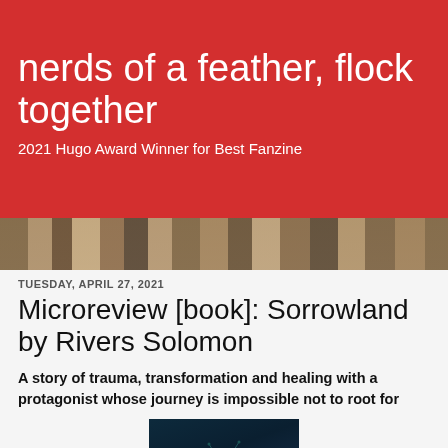nerds of a feather, flock together
2021 Hugo Award Winner for Best Fanzine
TUESDAY, APRIL 27, 2021
Microreview [book]: Sorrowland by Rivers Solomon
A story of trauma, transformation and healing with a protagonist whose journey is impossible not to root for
[Figure (photo): Book cover of Sorrowland by Rivers Solomon — dark navy/teal background with plant/branch illustration]